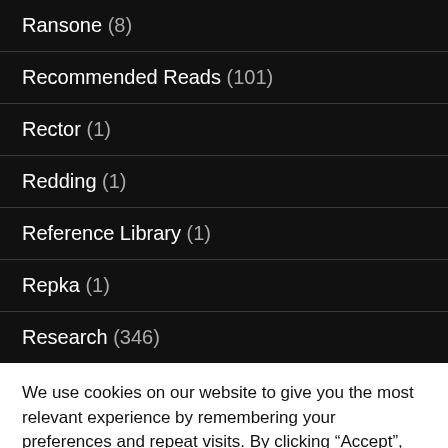Ransone (8)
Recommended Reads (101)
Rector (1)
Redding (1)
Reference Library (1)
Repka (1)
Research (346)
We use cookies on our website to give you the most relevant experience by remembering your preferences and repeat visits. By clicking “Accept”, you consent to the use of ALL the cookies.
Do not sell my personal information.
Cookie settings  ACCEPT